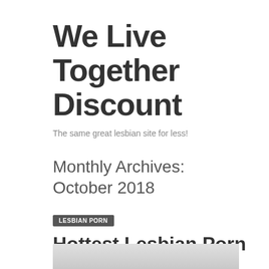We Live Together Discount
The same great lesbian site for less!
Monthly Archives: October 2018
LESBIAN PORN
Hottest Lesbian Porn On Girls Way!
October 28, 2018 – 12:14 am
[Figure (photo): Partial thumbnail image at bottom of page]